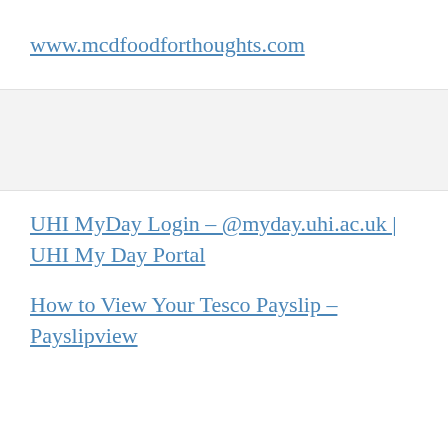www.mcdfoodforthoughts.com
UHI MyDay Login – @myday.uhi.ac.uk | UHI My Day Portal
How to View Your Tesco Payslip – Payslipview